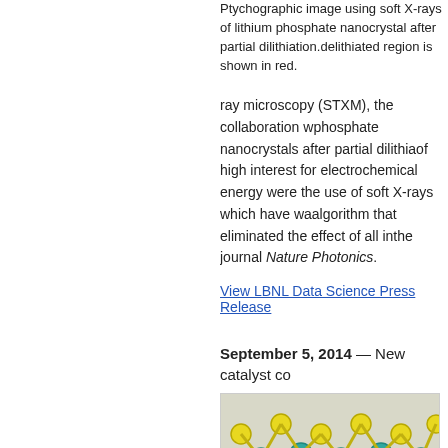Ptychographic image using soft X-rays of lithium iron phosphate nanocrystal after partial dilithiation. The delithiated region is shown in red.
ray microscopy (STXM), the collaboration was able to image lithium iron phosphate nanocrystals after partial dilithiation. Lithium iron phosphate is a battery material of high interest for electrochemical energy storage. Keys to the team's success were the use of soft X-rays which have wavelengths below 10 nm, and a new algorithm that eliminated the effect of all instrument vibrations. Results appear in the journal Nature Photonics.
View LBNL Data Science Press Release
September 5, 2014 — New catalyst co...
[Figure (illustration): 3D molecular structure of 2D molybdenum disulfide showing layered lattice with teal/cyan molybdenum atoms and yellow sulfur atoms in a repeating crystalline pattern.]
Structure of 2D molybdenum disulfide. Molybdenum atoms are shown in teal, sulfur atoms in yellow.